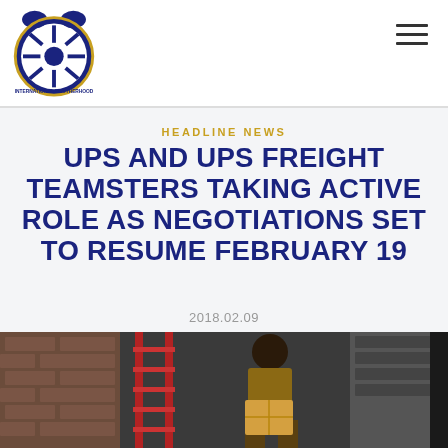Teamsters logo and navigation
HEADLINE NEWS
UPS AND UPS FREIGHT TEAMSTERS TAKING ACTIVE ROLE AS NEGOTIATIONS SET TO RESUME FEBRUARY 19
2018.02.09
[Figure (photo): A UPS delivery worker carrying a box inside a loading dock area with red ladder and garage door visible]